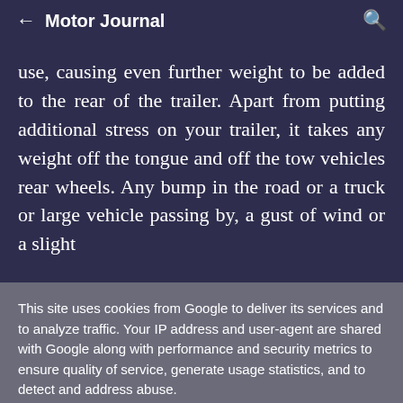← Motor Journal 🔍
use, causing even further weight to be added to the rear of the trailer. Apart from putting additional stress on your trailer, it takes any weight off the tongue and off the tow vehicles rear wheels. Any bump in the road or a truck or large vehicle passing by, a gust of wind or a slight
This site uses cookies from Google to deliver its services and to analyze traffic. Your IP address and user-agent are shared with Google along with performance and security metrics to ensure quality of service, generate usage statistics, and to detect and address abuse.
LEARN MORE   OK